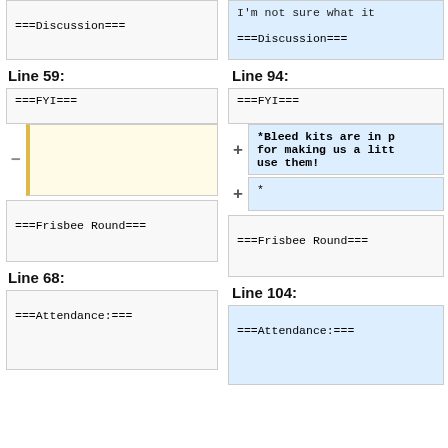===Discussion===
===Discussion===
Line 59:
Line 94:
===FYI===
===FYI===
(empty removed line)
*Bleed kits are in p for making us a litt use them!
*
===Frisbee Round===
===Frisbee Round===
Line 68:
Line 104:
===Attendance:===
===Attendance:===